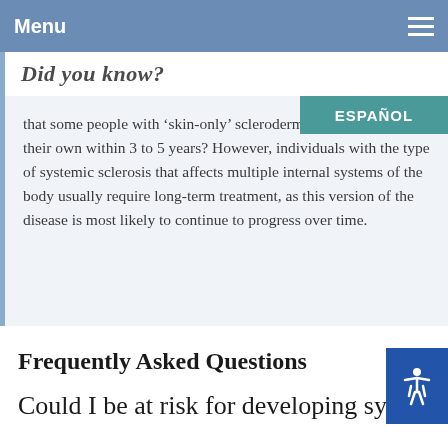Menu
Did you know?
that some people with 'skin-only' scleroderma often recover on their own within 3 to 5 years? However, individuals with the type of systemic sclerosis that affects multiple internal systems of the body usually require long-term treatment, as this version of the disease is most likely to continue to progress over time.
Frequently Asked Questions
Could I be at risk for developing systemic sclerosis?
Anyone can develop systemic sclerosis though women are at a higher risk of the disease than men are. If you